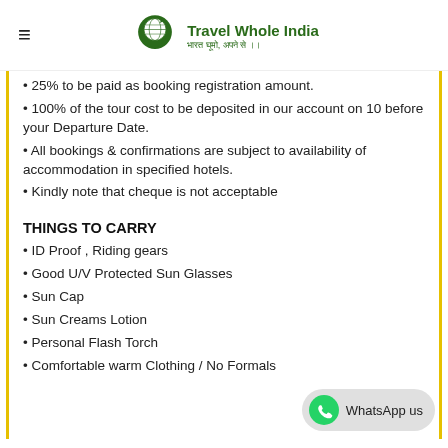[Figure (logo): Travel Whole India logo with green map pin and airplane, green text 'Travel Whole India' with Hindi subtitle]
25% to be paid as booking registration amount.
100% of the tour cost to be deposited in our account on 10 before your Departure Date.
All bookings & confirmations are subject to availability of accommodation in specified hotels.
Kindly note that cheque is not acceptable
THINGS TO CARRY
ID Proof , Riding gears
Good U/V Protected Sun Glasses
Sun Cap
Sun Creams Lotion
Personal Flash Torch
Comfortable warm Clothing / No Formals